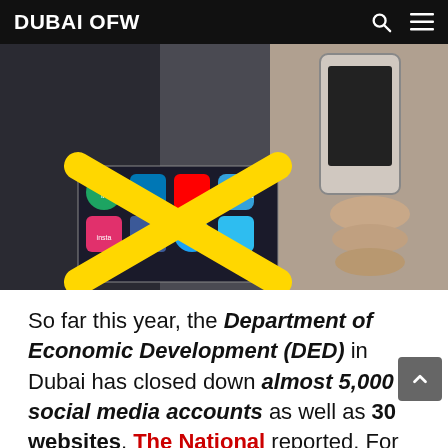DUBAI OFW
[Figure (photo): Hero image showing a person in a suit holding a smartphone, with an overlay image of social media app icons crossed out with a yellow X.]
So far this year, the Department of Economic Development (DED) in Dubai has closed down almost 5,000 social media accounts as well as 30 websites, The National reported. For what